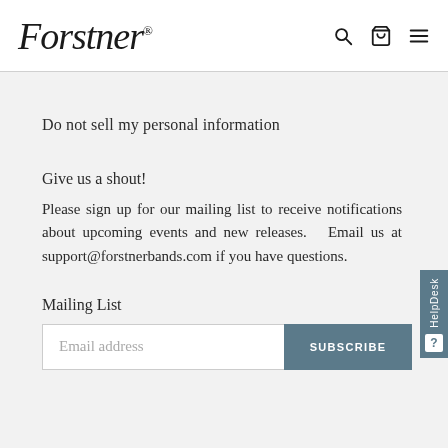Forstner® [logo] with search, cart, and menu icons
Do not sell my personal information
Give us a shout!
Please sign up for our mailing list to receive notifications about upcoming events and new releases.   Email us at support@forstnerbands.com if you have questions.
Mailing List
Email address  SUBSCRIBE